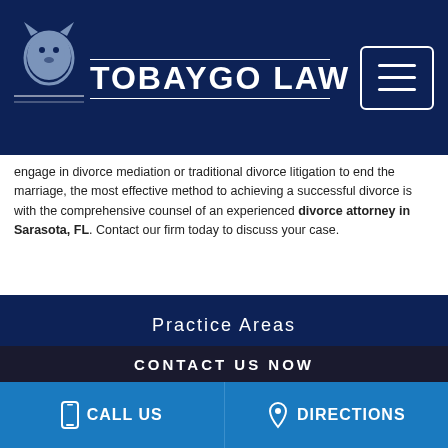[Figure (logo): Tobaygo Law logo with lion graphic and horizontal rules on dark navy background]
engage in divorce mediation or traditional divorce litigation to end the marriage, the most effective method to achieving a successful divorce is with the comprehensive counsel of an experienced divorce attorney in Sarasota, FL. Contact our firm today to discuss your case.
Practice Areas
Adoption
Alimony
Annulments
CONTACT US NOW
CALL US   DIRECTIONS